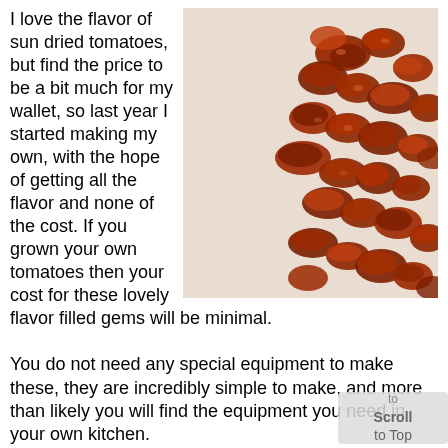[Figure (photo): Close-up photo of sun dried tomatoes scattered on a white surface. The tomatoes are shriveled, dark red-orange in color.]
I love the flavor of sun dried tomatoes, but find the price to be a bit much for my wallet, so last year I started making my own, with the hope of getting all the flavor and none of the cost. If you grown your own tomatoes then your cost for these lovely flavor filled gems will be minimal.

You do not need any special equipment to make these, they are incredibly simple to make, and more than likely you will find the equipment you need in your own kitchen.